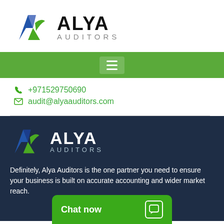[Figure (logo): Alya Auditors logo with stylized A in blue and green, text ALYA in bold black and AUDITORS in grey]
[Figure (infographic): Green navigation bar with white hamburger menu icon]
+971529750690
audit@alyaauditors.com
[Figure (logo): Alya Auditors logo on dark navy background, ALYA in white bold, AUDITORS in muted blue-grey]
Definitely, Alya Auditors is the one partner you need to ensure your business is built on accurate accounting and wider market reach.
Chat now